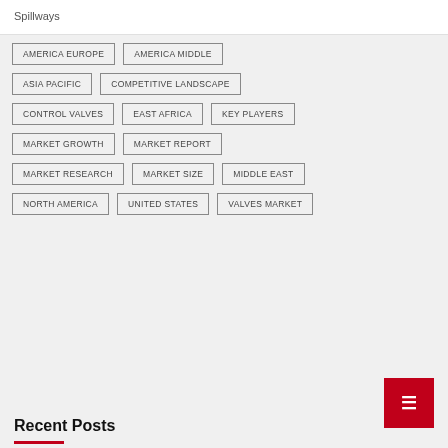Spillways
AMERICA EUROPE
AMERICA MIDDLE
ASIA PACIFIC
COMPETITIVE LANDSCAPE
CONTROL VALVES
EAST AFRICA
KEY PLAYERS
MARKET GROWTH
MARKET REPORT
MARKET RESEARCH
MARKET SIZE
MIDDLE EAST
NORTH AMERICA
UNITED STATES
VALVES MARKET
Recent Posts